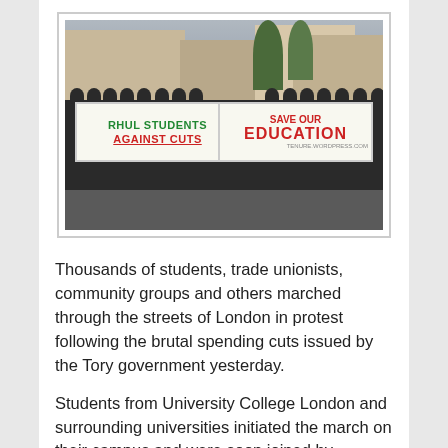[Figure (photo): Photograph of protesters marching in London streets holding banners. One banner reads 'RHUL STUDENTS AGAINST CUTS' in green and red text, another reads 'SAVE OUR EDUCATION' in large red text. A crowd of students and protesters fills the street.]
Thousands of students, trade unionists, community groups and others marched through the streets of London in protest following the brutal spending cuts issued by the Tory government yesterday.
Students from University College London and surrounding universities initiated the march on their campus and were soon joined by thousands of others united in the cause. Banners on display reflected the diversity of those protesting, including unions such as Unison, the National Union of Teachers and the GMB. The procession passed through Central London and ended up at a rally outside